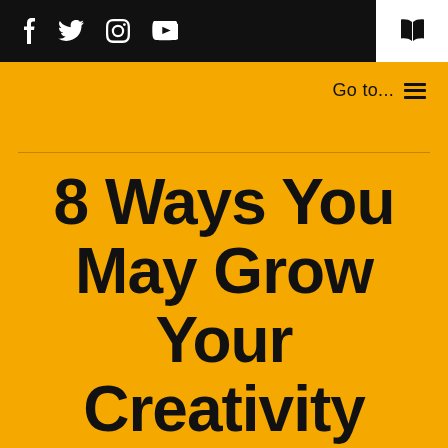f  Twitter  Instagram  YouTube  [book icon]
Go to... ☰
8 Ways You May Grow Your Creativity Using Motor